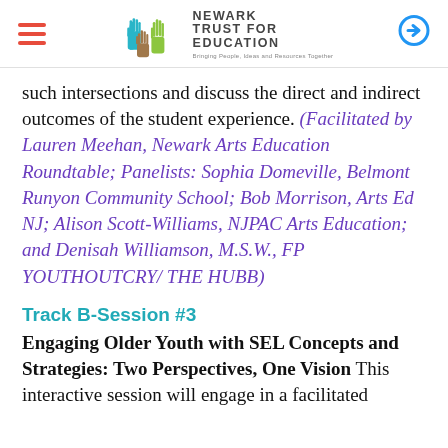Newark Trust for Education — navigation header with logo
such intersections and discuss the direct and indirect outcomes of the student experience. (Facilitated by Lauren Meehan, Newark Arts Education Roundtable; Panelists: Sophia Domeville, Belmont Runyon Community School; Bob Morrison, Arts Ed NJ; Alison Scott-Williams, NJPAC Arts Education; and Denisah Williamson, M.S.W., FP YOUTHOUTCRY/ THE HUBB)
Track B-Session #3
Engaging Older Youth with SEL Concepts and Strategies: Two Perspectives, One Vision This interactive session will engage in a facilitated